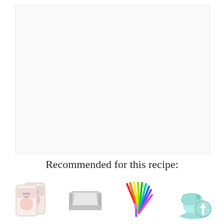[Figure (photo): Large white/light gray empty image area at top of page, likely a recipe photo placeholder]
Recommended for this recipe:
[Figure (photo): Four product images in a row: (1) two pink/white bags of baking mix, (2) a silver/aluminum rectangular baking pan, (3) a colorful fan of silicone spatulas in rainbow colors, (4) a mint/teal KitchenAid stand mixer with an up-arrow overlay]